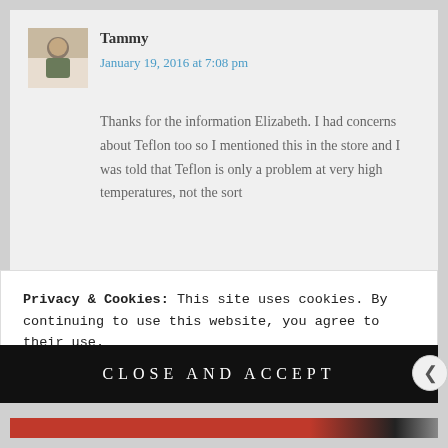[Figure (photo): Avatar photo of commenter Tammy - a person in casual clothing]
Tammy
January 19, 2016 at 7:08 pm
Thanks for the information Elizabeth. I had concerns about Teflon too so I mentioned this in the store and I was told that Teflon is only a problem at very high temperatures, not the sort
Privacy & Cookies: This site uses cookies. By continuing to use this website, you agree to their use.
To find out more, including how to control cookies, see here: Cookie Policy
CLOSE AND ACCEPT